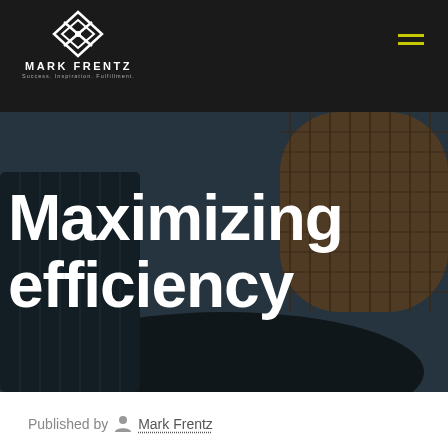MARK FRENTZ — Success. Inspiration. Fulfillment.
[Figure (photo): Aerial/upward-angle photograph of modern curved glass skyscraper buildings against a blue-gray sky, serving as hero background image]
Maximizing efficiency
Published by Mark Frentz